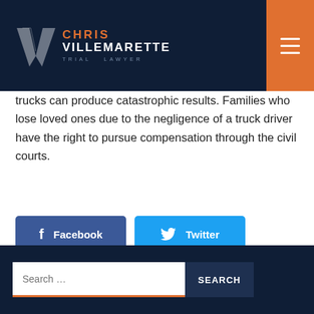Chris Villemarette Trial Lawyer
trucks can produce catastrophic results. Families who lose loved ones due to the negligence of a truck driver have the right to pursue compensation through the civil courts.
[Figure (other): Social share buttons: Facebook, Twitter, LinkedIn]
Search ... [SEARCH button]